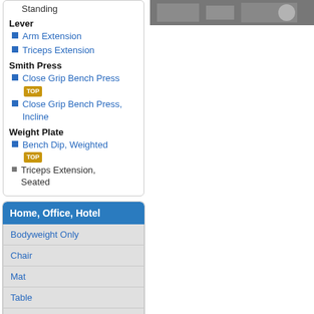Standing
Lever
Arm Extension
Triceps Extension
Smith Press
Close Grip Bench Press TOP
Close Grip Bench Press, Incline
Weight Plate
Bench Dip, Weighted TOP
Triceps Extension, Seated
Home, Office, Hotel
Bodyweight Only
Chair
Mat
Table
Water Bottles
Outdoor Training
Bench
Bodyweight Only
Monkeybars
[Figure (photo): Gym/fitness equipment photo in top right]